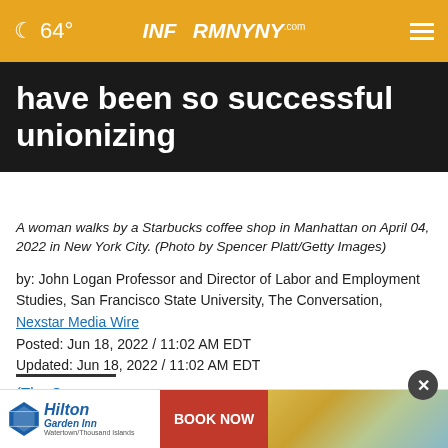☾ 64°  INFORMNNY.com  ≡
have been so successful unionizing
A woman walks by a Starbucks coffee shop in Manhattan on April 04, 2022 in New York City. (Photo by Spencer Platt/Getty Images)
by: John Logan Professor and Director of Labor and Employment Studies, San Francisco State University, The Conversation, Nexstar Media Wire
Posted: Jun 18, 2022 / 11:02 AM EDT
Updated: Jun 18, 2022 / 11:02 AM EDT
SHARE
(The C... won its 100th election on May 27, 2022 – fittingly, in